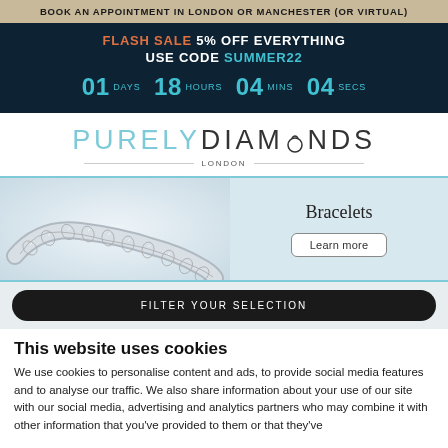BOOK AN APPOINTMENT IN LONDON OR MANCHESTER (OR VIRTUAL)
FLASH SALE 5% OFF EVERYTHING USE CODE SUMMER22 01 DAYS 18 HOURS 04 MINS 04 SECS
[Figure (logo): Purely Diamonds London logo with ring icon]
[Figure (photo): Diamond tennis bracelet on light background with 'Bracelets' label and 'Learn more' button]
FILTER YOUR SELECTION
This website uses cookies
We use cookies to personalise content and ads, to provide social media features and to analyse our traffic. We also share information about your use of our site with our social media, advertising and analytics partners who may combine it with other information that you've provided to them or that they've